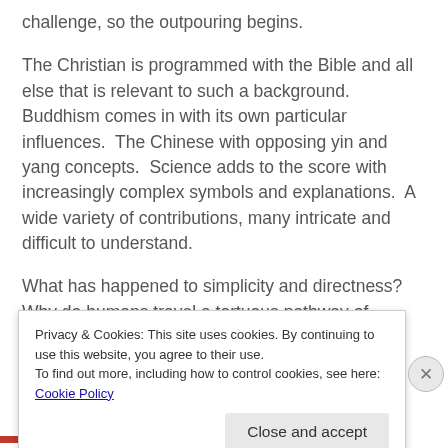challenge, so the outpouring begins.
The Christian is programmed with the Bible and all else that is relevant to such a background.  Buddhism comes in with its own particular influences.  The Chinese with opposing yin and yang concepts.  Science adds to the score with increasingly complex symbols and explanations.  A wide variety of contributions, many intricate and difficult to understand.
What has happened to simplicity and directness?  Why do humans travel a tortuous pathway of expression abounding in verbal complexities that surge into action
Privacy & Cookies: This site uses cookies. By continuing to use this website, you agree to their use.
To find out more, including how to control cookies, see here: Cookie Policy
Close and accept